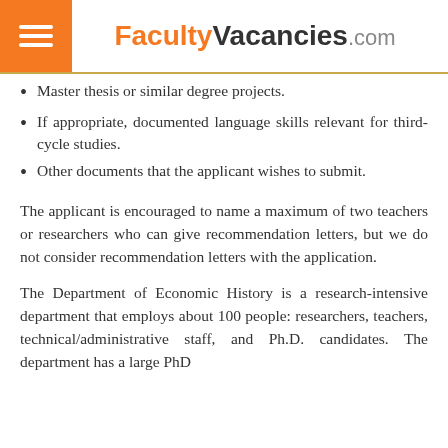FacultyVacancies.com
Master thesis or similar degree projects.
If appropriate, documented language skills relevant for third-cycle studies.
Other documents that the applicant wishes to submit.
The applicant is encouraged to name a maximum of two teachers or researchers who can give recommendation letters, but we do not consider recommendation letters with the application.
The Department of Economic History is a research-intensive department that employs about 100 people: researchers, teachers, technical/administrative staff, and Ph.D. candidates. The department has a large PhD